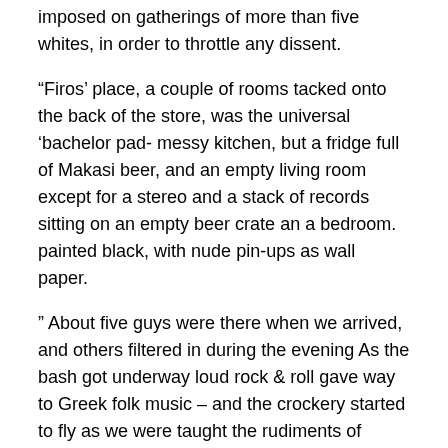imposed on gatherings of more than five whites, in order to throttle any dissent.
“Firos’ place, a couple of rooms tacked onto the back of the store, was the universal ‘bachelor pad- messy kitchen, but a fridge full of Makasi beer, and an empty living room except for a stereo and a stack of records sitting on an empty beer crate an a bedroom. painted black, with nude pin-ups as wall paper.
” About five guys were there when we arrived, and others filtered in during the evening As the bash got underway loud rock & roll gave way to Greek folk music – and the crockery started to fly as we were taught the rudiments of Greek dancing. The party ended with a drunken sing-song – Jingle Bells, Silent Night, Oh Suzanna  (for some unknown reason!) and a beautiful medley of Spanish